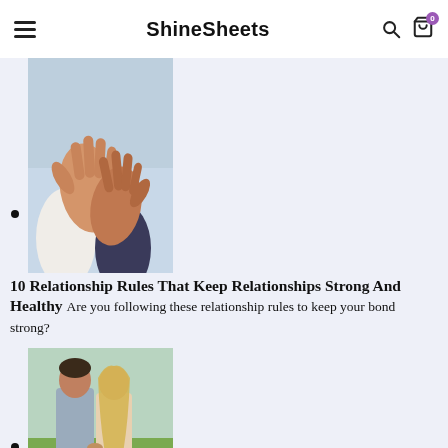ShineSheets
[Figure (photo): Two hands giving a high-five against a blurred outdoor background]
10 Relationship Rules That Keep Relationships Strong And Healthy Are you following these relationship rules to keep your bond strong?
[Figure (photo): Couple holding hands seen from behind, standing in a green field]